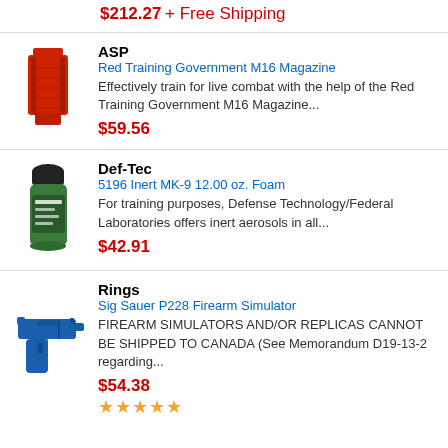$212.27 + Free Shipping
[Figure (photo): Red M16 magazine training replica]
ASP
Red Training Government M16 Magazine
Effectively train for live combat with the help of the Red Training Government M16 Magazine...
$59.56
[Figure (photo): Green aerosol can with black top - MK-9 foam inert training spray]
Def-Tec
5196 Inert MK-9 12.00 oz. Foam
For training purposes, Defense Technology/Federal Laboratories offers inert aerosols in all...
$42.91
[Figure (photo): Blue rubber/plastic Sig Sauer P228 firearm simulator]
Rings
Sig Sauer P228 Firearm Simulator
FIREARM SIMULATORS AND/OR REPLICAS CANNOT BE SHIPPED TO CANADA (See Memorandum D19-13-2 regarding...
$54.38